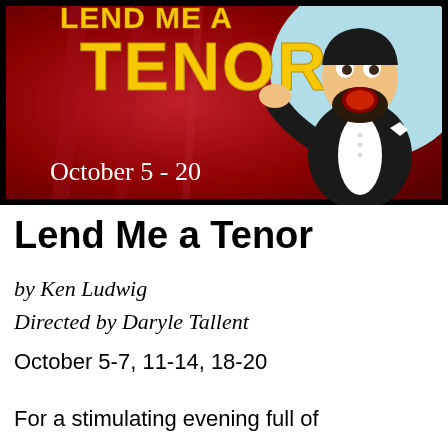[Figure (illustration): Promotional poster for 'Lend Me a Tenor' showing a cartoon opera singer in a tuxedo with mouth open wide, against a red curtain background. Yellow bold text reads 'TENOR' at the top and white text reads 'October 5 - 20' at the bottom left of the image.]
Lend Me a Tenor
by Ken Ludwig
Directed by Daryle Tallent
October 5-7, 11-14, 18-20
For a stimulating evening full of